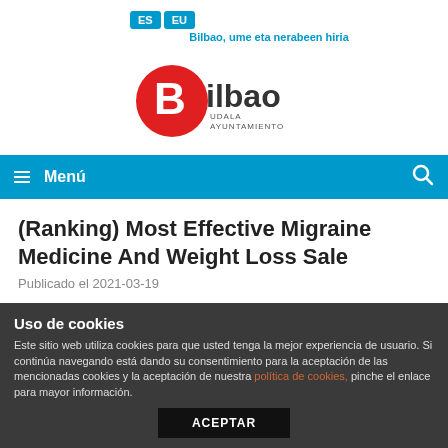ES EU | Bilbao, ume eta nerabeen hiria
[Figure (logo): Bilbao Udala Ayuntamiento logo — red oval with white B, text Bilbao in dark grey, UDALA AYUNTAMIENTO below]
Menú
(Ranking) Most Effective Migraine Medicine And Weight Loss Sale
Publicado el 2021-03-19
Uso de cookies
Este sitio web utiliza cookies para que usted tenga la mejor experiencia de usuario. Si continúa navegando está dando su consentimiento para la aceptación de las mencionadas cookies y la aceptación de nuestra política de cookies, pinche el enlace para mayor información.
ACEPTAR